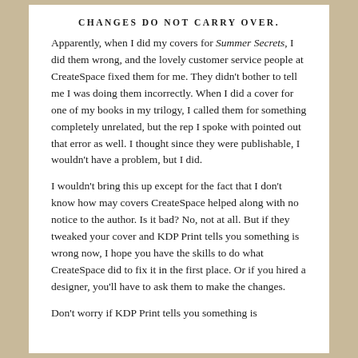CHANGES DO NOT CARRY OVER.
Apparently, when I did my covers for Summer Secrets, I did them wrong, and the lovely customer service people at CreateSpace fixed them for me. They didn't bother to tell me I was doing them incorrectly. When I did a cover for one of my books in my trilogy, I called them for something completely unrelated, but the rep I spoke with pointed out that error as well. I thought since they were publishable, I wouldn't have a problem, but I did.
I wouldn't bring this up except for the fact that I don't know how may covers CreateSpace helped along with no notice to the author. Is it bad? No, not at all. But if they tweaked your cover and KDP Print tells you something is wrong now, I hope you have the skills to do what CreateSpace did to fix it in the first place. Or if you hired a designer, you'll have to ask them to make the changes.
Don't worry if KDP Print tells you something is